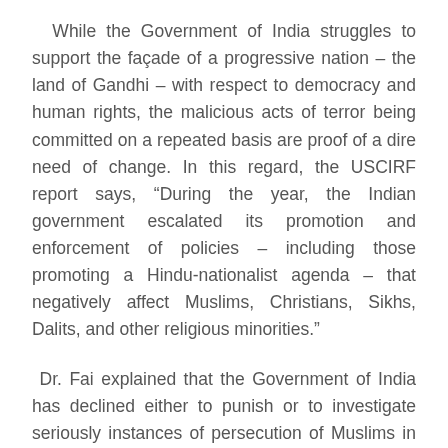While the Government of India struggles to support the façade of a progressive nation – the land of Gandhi – with respect to democracy and human rights, the malicious acts of terror being committed on a repeated basis are proof of a dire need of change. In this regard, the USCIRF report says, “During the year, the Indian government escalated its promotion and enforcement of policies – including those promoting a Hindu-nationalist agenda – that negatively affect Muslims, Christians, Sikhs, Dalits, and other religious minorities.”
Dr. Fai explained that the Government of India has declined either to punish or to investigate seriously instances of persecution of Muslims in Kashmir, and elsewhere. Furthermore, the...